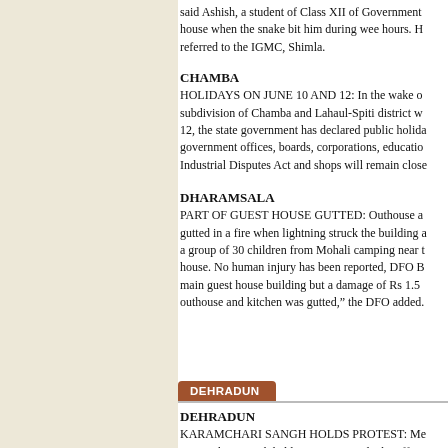said Ashish, a student of Class XII of Government... house when the snake bit him during wee hours. H... referred to the IGMC, Shimla.
CHAMBA
HOLIDAYS ON JUNE 10 AND 12: In the wake o... subdivision of Chamba and Lahaul-Spiti district w... 12, the state government has declared public holida... government offices, boards, corporations, educatio... Industrial Disputes Act and shops will remain close...
DHARAMSALA
PART OF GUEST HOUSE GUTTED: Outhouse a... gutted in a fire when lightning struck the building a... a group of 30 children from Mohali camping near t... house. No human injury has been reported, DFO B... main guest house building but a damage of Rs 1.5... outhouse and kitchen was gutted," the DFO added.
[Figure (other): DEHRADUN section tab/banner in brown/rust color with white text]
DEHRADUN
KARAMCHARI SANGH HOLDS PROTEST: Me... Karamchari Sangh held a protest outside the office...